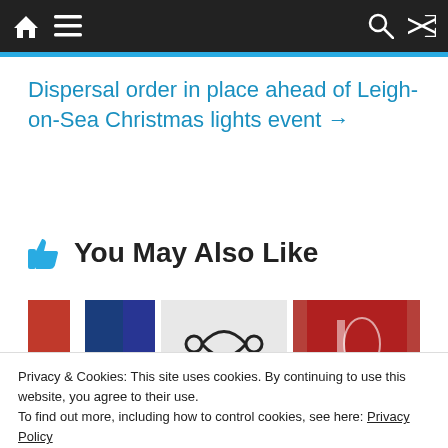Navigation bar with home, menu, search, and shuffle icons
Dispersal order in place ahead of Leigh-on-Sea Christmas lights event →
👍 You May Also Like
[Figure (photo): Three thumbnail images in a horizontal strip showing sports/news imagery]
Privacy & Cookies: This site uses cookies. By continuing to use this website, you agree to their use.
To find out more, including how to control cookies, see here: Privacy Policy
Close and accept
Home Street Vanarama / Hospel Premier / September ...